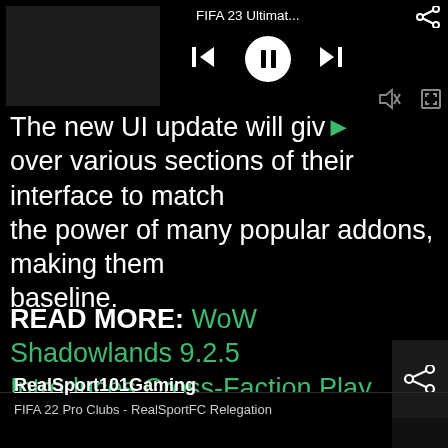[Figure (screenshot): Video thumbnail (dark/black rectangle) on left side of media player bar]
FIFA 23 Ultimat...
[Figure (other): Media player controls: skip-back, pause, skip-forward buttons; share icon top right; mute and expand icons]
The new UI update will give users more control over various sections of their interface to match the power of many popular addons, making them baseline.
READ MORE: WoW Shadowlands 9.2.5 Introduces Cross-Faction Play
[Figure (other): Share icon button on right side]
FIFA 22 Pro Clubs - RealSportFC Promotion Push
RealSport101Gaming
FIFA 22 Pro Clubs - RealSportFC Relegation